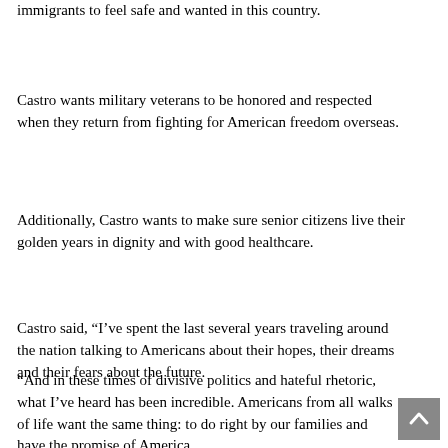immigrants to feel safe and wanted in this country.
Castro wants military veterans to be honored and respected when they return from fighting for American freedom overseas.
Additionally, Castro wants to make sure senior citizens live their golden years in dignity and with good healthcare.
Castro said, “I’ve spent the last several years traveling around the nation talking to Americans about their hopes, their dreams and their fears about the future.
“And in these times of divisive politics and hateful rhetoric, what I’ve heard has been incredible. Americans from all walks of life want the same thing: to do right by our families and have the promise of America